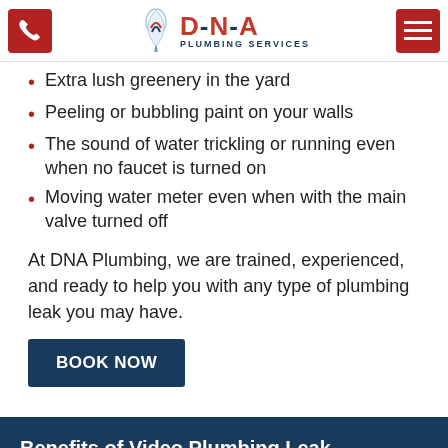D-N-A Plumbing Services
Extra lush greenery in the yard
Peeling or bubbling paint on your walls
The sound of water trickling or running even when no faucet is turned on
Moving water meter even when with the main valve turned off
At DNA Plumbing, we are trained, experienced, and ready to help you with any type of plumbing leak you may have.
BOOK NOW
Benefits of Video Plumbing Leak Detection & Repair